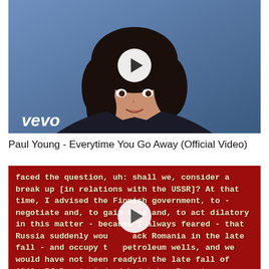[Figure (screenshot): Music video thumbnail for Paul Young - Everytime You Go Away (Official Video) on Vevo. Shows a young man with dark hair against a blue background, with a white circular play button overlay. Vevo logo visible in lower left.]
Paul Young - Everytime You Go Away (Official Video)
[Figure (screenshot): Video thumbnail with red background showing white subtitle text: 'faced the question, uh: shall we, consider a break up [in relations with the USSR]? At that time, I advised the Finnish government, to - negotiate and, to gain time and, to act dilatory in this matter - because I always feared - that Russia suddenly would attack Romania in the late fall - and occupy the petroleum wells, and we would have not been ready in the late fall of 1940. If Russia indeed had taken Romanian petroleum wells, then Germany would have...']